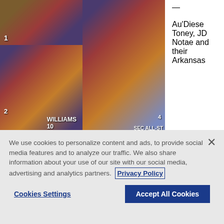[Figure (photo): Basketball game action photos collage - LSU vs Arkansas players on court, multiple shots including players numbered 2, 4, 10 (Williams) in purple and white uniforms]
— Au'Diese Toney, JD Notae and their Arkansas
We use cookies to personalize content and ads, to provide social media features and to analyze our traffic. We also share information about your use of our site with our social media, advertising and analytics partners. Privacy Policy
Cookies Settings
Accept All Cookies